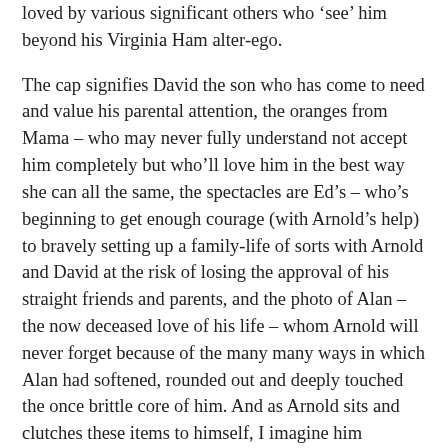loved by various significant others who 'see' him beyond his Virginia Ham alter-ego.
The cap signifies David the son who has come to need and value his parental attention, the oranges from Mama – who may never fully understand not accept him completely but who'll love him in the best way she can all the same, the spectacles are Ed's – who's beginning to get enough courage (with Arnold's help) to bravely setting up a family-life of sorts with Arnold and David at the risk of losing the approval of his straight friends and parents, and the photo of Alan – the now deceased love of his life – whom Arnold will never forget because of the many many ways in which Alan had softened, rounded out and deeply touched the once brittle core of him. And as Arnold sits and clutches these items to himself, I imagine him thinking that he may lose his looks, his apartment, his financial security, his career – but he will never lose the love of nor his memories of these very folk who